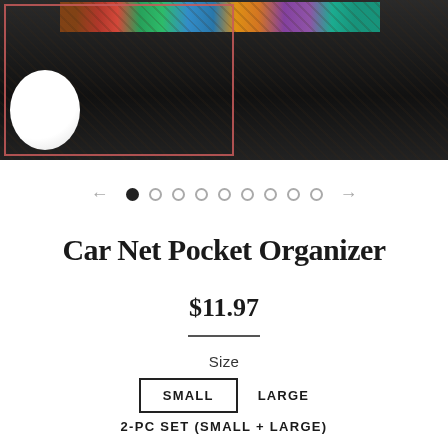[Figure (photo): Car net pocket organizer product photo showing a black mesh/fabric organizer with colorful items inside, on a dark seat background. A red selection box outline is visible on the left portion of the image. White spherical object visible at bottom left.]
← ● ○ ○ ○ ○ ○ ○ ○ ○ →
Car Net Pocket Organizer
$11.97
Size
SMALL   LARGE
2-PC SET (SMALL + LARGE)